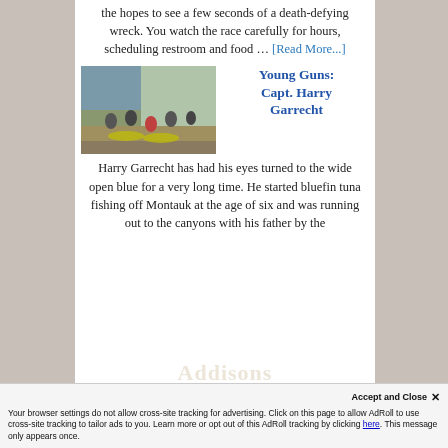the hopes to see a few seconds of a death-defying wreck. You watch the race carefully for hours, scheduling restroom and food … [Read More...]
[Figure (photo): Group photo of people on a boat dock with large tuna fish catches]
Young Guns: Capt. Harry Garrecht
Harry Garrecht has had his eyes turned to the wide open blue for a very long time. He started bluefin tuna fishing off Montauk at the age of six and was running out to the canyons with his father by the
Your browser settings do not allow cross-site tracking for advertising. Click on this page to allow AdRoll to use cross-site tracking to tailor ads to you. Learn more or opt out of this AdRoll tracking by clicking here. This message only appears once.